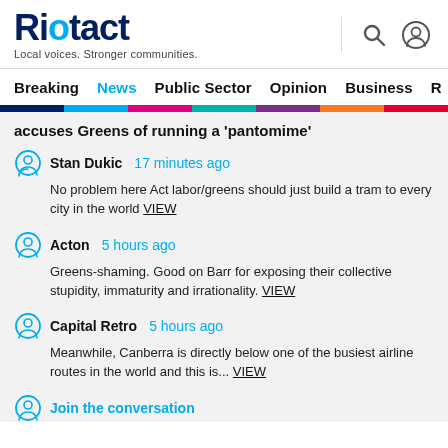Riotact — Local voices. Stronger communities.
Breaking | News | Public Sector | Opinion | Business | R
accuses Greens of running a 'pantomime'
Stan Dukic  17 minutes ago
No problem here Act labor/greens should just build a tram to every city in the world VIEW
Acton  5 hours ago
Greens-shaming. Good on Barr for exposing their collective stupidity, immaturity and irrationality. VIEW
Capital Retro  5 hours ago
Meanwhile, Canberra is directly below one of the busiest airline routes in the world and this is... VIEW
Join the conversation